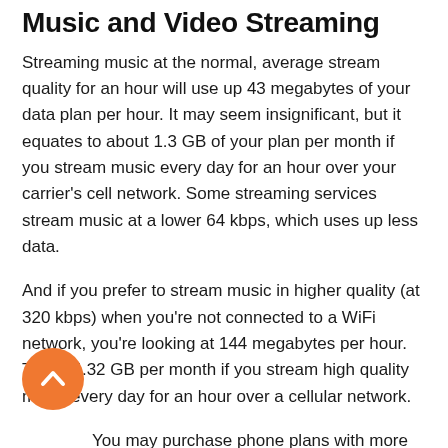Music and Video Streaming
Streaming music at the normal, average stream quality for an hour will use up 43 megabytes of your data plan per hour. It may seem insignificant, but it equates to about 1.3 GB of your plan per month if you stream music every day for an hour over your carrier's cell network. Some streaming services stream music at a lower 64 kbps, which uses up less data.
And if you prefer to stream music in higher quality (at 320 kbps) when you're not connected to a WiFi network, you're looking at 144 megabytes per hour. That's 4.32 GB per month if you stream high quality music every day for an hour over a cellular network.
You may purchase phone plans with more than enough data to cover things like casual web surfing and streaming the occasional song.